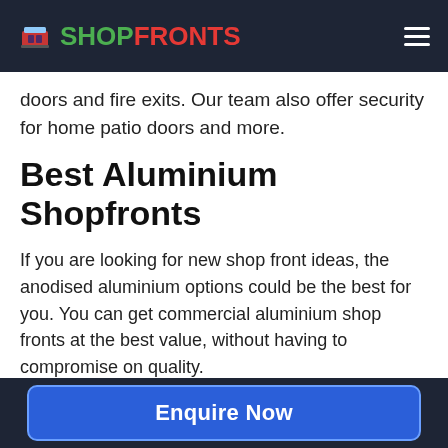SHOPFRONTS
doors and fire exits. Our team also offer security for home patio doors and more.
Best Aluminium Shopfronts
If you are looking for new shop front ideas, the anodised aluminium options could be the best for you. You can get commercial aluminium shop fronts at the best value, without having to compromise on quality.
Our team in Balstonia aim to offer premium materials at cost effective prices to ensure you get the very best results.
Enquire Now